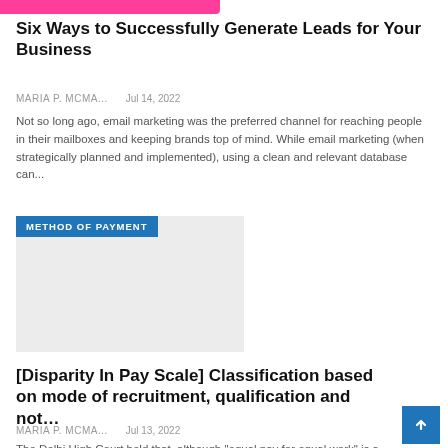[Figure (other): Pink/magenta banner strip at top of page]
Six Ways to Successfully Generate Leads for Your Business
MARIA P. MCMA...   Jul 14, 2022
Not so long ago, email marketing was the preferred channel for reaching people in their mailboxes and keeping brands top of mind. While email marketing (when strategically planned and implemented), using a clean and relevant database can...
[Figure (other): Image block with 'METHOD OF PAYMENT' blue label overlay on grey/light background image]
[Disparity In Pay Scale] Classification based on mode of recruitment, qualification and not...
MARIA P. MCMA...   Jul 13, 2022
The Delhi High Court held that, although "equal pay for equal work" is a